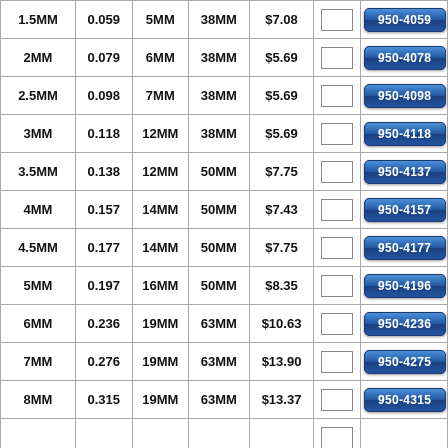|  |  |  |  |  | QTY | PART# |
| --- | --- | --- | --- | --- | --- | --- |
| 1.5MM | 0.059 | 5MM | 38MM | $7.08 |  | 950-4059 |
| 2MM | 0.079 | 6MM | 38MM | $5.69 |  | 950-4078 |
| 2.5MM | 0.098 | 7MM | 38MM | $5.69 |  | 950-4098 |
| 3MM | 0.118 | 12MM | 38MM | $5.69 |  | 950-4118 |
| 3.5MM | 0.138 | 12MM | 50MM | $7.75 |  | 950-4137 |
| 4MM | 0.157 | 14MM | 50MM | $7.43 |  | 950-4157 |
| 4.5MM | 0.177 | 14MM | 50MM | $7.75 |  | 950-4177 |
| 5MM | 0.197 | 16MM | 50MM | $8.35 |  | 950-4196 |
| 6MM | 0.236 | 19MM | 63MM | $10.63 |  | 950-4236 |
| 7MM | 0.276 | 19MM | 63MM | $13.90 |  | 950-4275 |
| 8MM | 0.315 | 19MM | 63MM | $13.37 |  | 950-4315 |
|  |  |  |  |  |  |  |